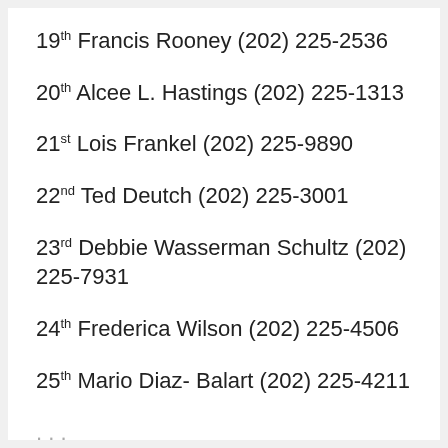19th Francis Rooney (202) 225-2536
20th Alcee L. Hastings (202) 225-1313
21st Lois Frankel (202) 225-9890
22nd Ted Deutch (202) 225-3001
23rd Debbie Wasserman Schultz (202) 225-7931
24th Frederica Wilson (202) 225-4506
25th Mario Diaz- Balart (202) 225-4211